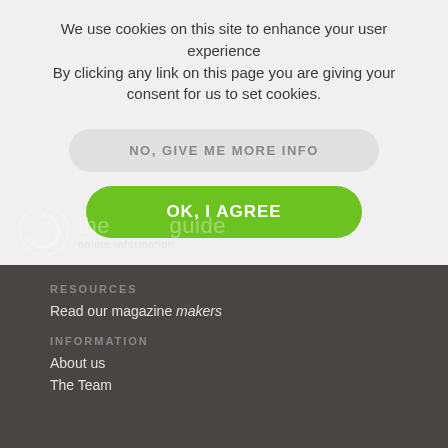We use cookies on this site to enhance your user experience
By clicking any link on this page you are giving your consent for us to set cookies.
NO, GIVE ME MORE INFO
OK, I AGREE
[Figure (logo): Partial logo with circular arrow icon and text 'the guide' with subtitle partially visible]
RESOURCES
Read our magazine makers
INFORMATION
About us
The Team